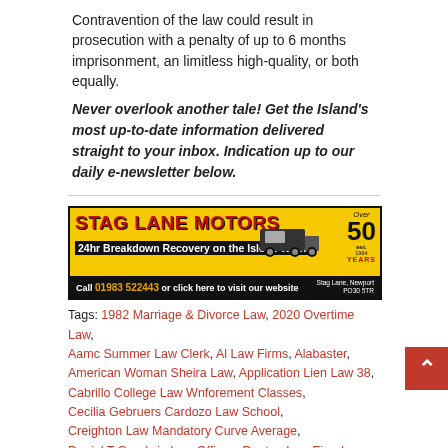Contravention of the law could result in prosecution with a penalty of up to 6 months imprisonment, an limitless high-quality, or both equally.
Never overlook another tale! Get the Island's most up-to-date information delivered straight to your inbox. Indication up to our daily e-newsletter below.
[Figure (illustration): Stag Lane Motors advertisement banner. Yellow background with red bold text 'STAG LANE MOTORS', tagline '24hr Breakdown Recovery on the Isle of Wight', phone number '01983 522443', 'Over 50 Years' logo, and truck image. Call 01983 522443 or click here to visit our website.]
Tags: 1982 Marriage & Divorce Law, 2020 Overtime Law, Aamc Summer Law Clerk, Al Law Firms, Alabaster, American Woman Sheira Law, Application Lien Law 38, Cabrillo College Law Wnforement Classes, Cecilia Gebruers Cardozo Law School, Creighton Law Mandatory Curve Average, Daniel T Goodwin Law Offices, Denton Law Firm Las Vegas, Discrimination Law Massachusetts, Dmv New Law, Example Of Law Of Reflection, Foster Smith Law Firm,